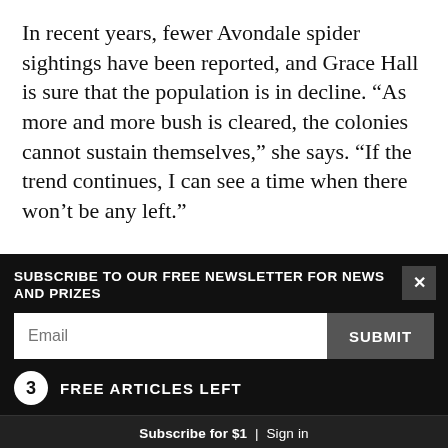In recent years, fewer Avondale spider sightings have been reported, and Grace Hall is sure that the population is in decline. “As more and more bush is cleared, the colonies cannot sustain themselves,” she says. “If the trend continues, I can see a time when there won’t be any left.”
Unlike their screen persona, Avondale spiders are neither dangerous nor vindictive—they make great pets! Perhaps it is ironic that the DSIR should procure such harmless spiders for Hollywood to portray as
SUBSCRIBE TO OUR FREE NEWSLETTER FOR NEWS AND PRIZES
Email
SUBMIT
3  FREE ARTICLES LEFT
Subscribe for $1  |  Sign in